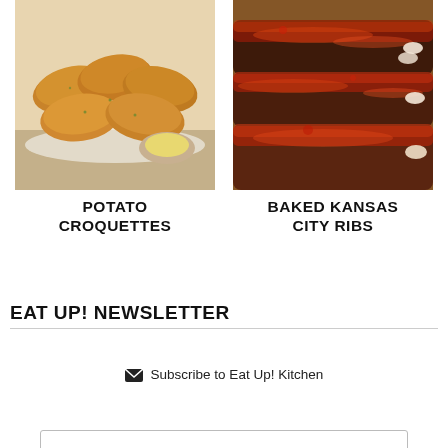[Figure (photo): Potato croquettes on a white plate with a dipping sauce bowl, golden-brown breaded oval shapes]
POTATO CROQUETTES
[Figure (photo): Baked Kansas City ribs on a wooden cutting board, dark caramelized BBQ sauce glaze on sliced ribs]
BAKED KANSAS CITY RIBS
EAT UP! NEWSLETTER
✉ Subscribe to Eat Up! Kitchen